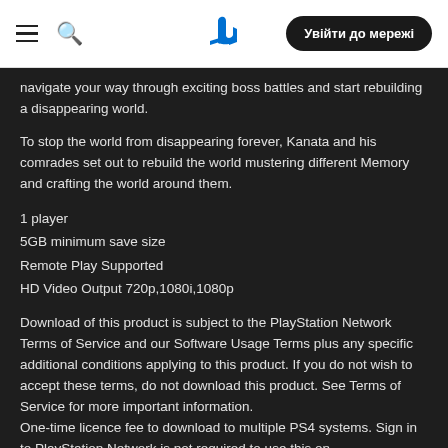PlayStation navigation header with hamburger menu, search icon, PlayStation logo, and 'Увійти до мережі' login button
navigate your way through exciting boss battles and start rebuilding a disappearing world.
To stop the world from disappearing forever, Kanata and his comrades set out to rebuild the world mustering different Memory and crafting the world around them.
1 player
5GB minimum save size
Remote Play Supported
HD Video Output 720p,1080i,1080p
Download of this product is subject to the PlayStation Network Terms of Service and our Software Usage Terms plus any specific additional conditions applying to this product. If you do not wish to accept these terms, do not download this product. See Terms of Service for more important information.
One-time licence fee to download to multiple PS4 systems. Sign in to PlayStation Network is not required to use this on